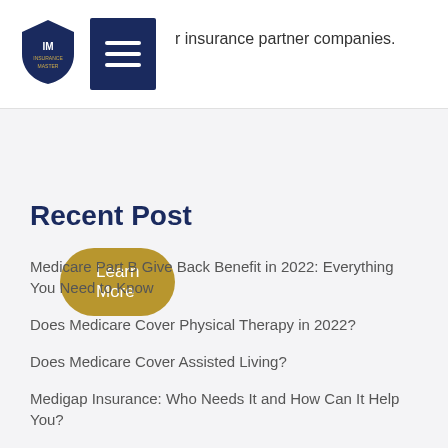r insurance partner companies.
[Figure (logo): Insurance Master shield logo with 'IM INSURANCE MASTER' text]
[Figure (other): Navigation hamburger menu button (three horizontal lines on dark blue background)]
Learn More
Recent Post
Medicare Part B Give Back Benefit in 2022: Everything You Need to Know
Does Medicare Cover Physical Therapy in 2022?
Does Medicare Cover Assisted Living?
Medigap Insurance: Who Needs It and How Can It Help You?
Does Medicare Cover Dental Implants for Seniors?
What Are the Biggest Medicare Changes for 2022?
Contact Info
Phone: (877) 969-0897 TTY 711